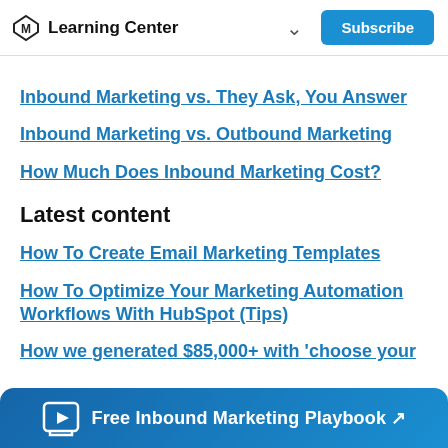Learning Center | Subscribe
Inbound Marketing vs. They Ask, You Answer
Inbound Marketing vs. Outbound Marketing
How Much Does Inbound Marketing Cost?
Latest content
How To Create Email Marketing Templates
How To Optimize Your Marketing Automation Workflows With HubSpot (Tips)
How we generated $85,000+ with 'choose your
Free Inbound Marketing Playbook ↗